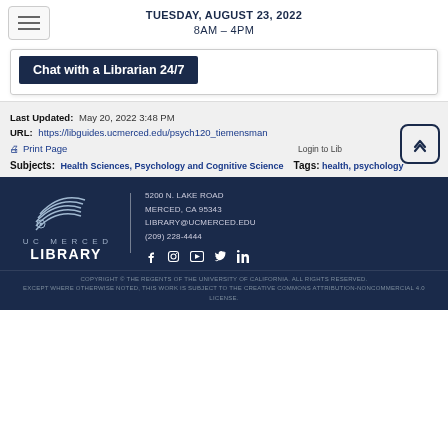Tuesday, August 23, 2022
8AM – 4PM
Chat with a Librarian 24/7
Last Updated: May 20, 2022 3:48 PM
URL: https://libguides.ucmerced.edu/psych120_tiemensman
Print Page
Login to LibApps
Subjects: Health Sciences, Psychology and Cognitive Science
Tags: health, psychology
[Figure (logo): UC Merced Library logo — stacked books icon with text UC MERCED LIBRARY]
5200 N. Lake Road
Merced, CA 95343
library@ucmerced.edu
(209) 228-4444
Copyright © The Regents of the University of California. All rights reserved.
Except where otherwise noted, this work is subject to the Creative Commons Attribution-Noncommercial 4.0 License.